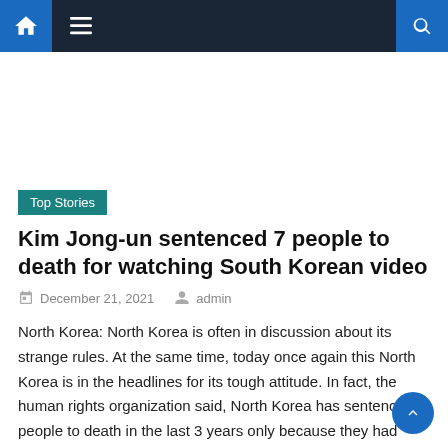Navigation bar with home icon, menu icon, and search icon
[Figure (other): Advertisement / blank white space area]
Top Stories
Kim Jong-un sentenced 7 people to death for watching South Korean video
December 21, 2021   admin
North Korea: North Korea is often in discussion about its strange rules. At the same time, today once again this North Korea is in the headlines for its tough attitude. In fact, the human rights organization said, North Korea has sentenced 7 people to death in the last 3 years only because they had